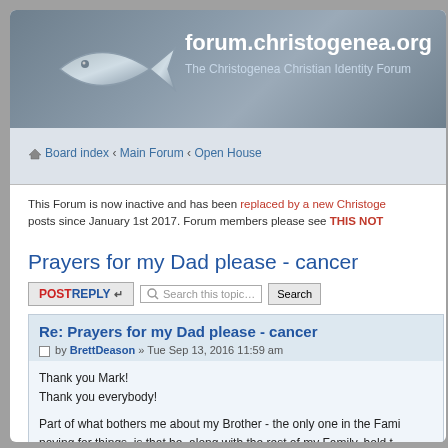forum.christogenea.org — The Christogenea Christian Identity Forum
Board index ‹ Main Forum ‹ Open House
This Forum is now inactive and has been replaced by a new Christoge... posts since January 1st 2017. Forum members please see THIS NOT...
Prayers for my Dad please - cancer
POSTREPLY   Search this topic…   Search
Re: Prayers for my Dad please - cancer
by BrettDeason » Tue Sep 13, 2016 11:59 am
Thank you Mark!
Thank you everybody!
Part of what bothers me about my Brother - the only one in the Fami... paying for things, is that he, along with the rest of my Family, hold t...